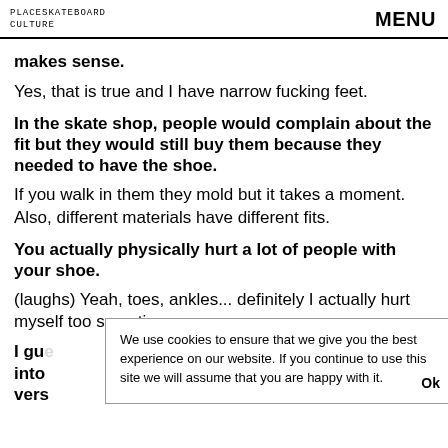PLACESKATEBOARD CULTURE   MENU
makes sense.
Yes, that is true and I have narrow fucking feet.
In the skate shop, people would complain about the fit but they would still buy them because they needed to have the shoe.
If you walk in them they mold but it takes a moment. Also, different materials have different fits.
You actually physically hurt a lot of people with your shoe.
(laughs) Yeah, toes, ankles... definitely I actually hurt myself too sometimes.
I gue... st into... vers...
We use cookies to ensure that we give you the best experience on our website. If you continue to use this site we will assume that you are happy with it.   Ok